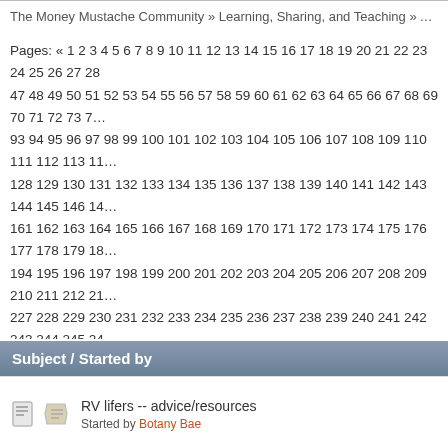The Money Mustache Community » Learning, Sharing, and Teaching » Ask a Mustachia…
Pages: « 1 2 3 4 5 6 7 8 9 10 11 12 13 14 15 16 17 18 19 20 21 22 23 24 25 26 27 28 … 47 48 49 50 51 52 53 54 55 56 57 58 59 60 61 62 63 64 65 66 67 68 69 70 71 72 73 7… 93 94 95 96 97 98 99 100 101 102 103 104 105 106 107 108 109 110 111 112 113 11… 128 129 130 131 132 133 134 135 136 137 138 139 140 141 142 143 144 145 146 14… 161 162 163 164 165 166 167 168 169 170 171 172 173 174 175 176 177 178 179 18… 194 195 196 197 198 199 200 201 202 203 204 205 206 207 208 209 210 211 212 21… 227 228 229 230 231 232 233 234 235 236 237 238 239 240 241 242 243 244 245 24… 260 261 262 263 264 265 266 267 268 269 270 271 272 273 274 275 276 277 278 27… 293 294 295 296 297 298 299 300 301 302 303 304 305 306 307 308 309 310 311 31… 326 327 328 329 330 331 332 333 334 335 336 337 338 339 340 341 342 343 344 34… 359 360 361 362 363 364 365 366 367 368 369 370 371 372 373 374 375 376 377 37… 392 393 394 395 396 397 398 399 400 401 402 403 404 405 406 407 408 409 410 41… 425 426 427 428 429 430 431 432 433 434 435 436 437 438 439 440 441 442 443 44… 458 459 460 461 462 463 464 465 466 467 468 469 470 471 472 473 474 475 476 47… 491 492 493 494 495 496 497 498 499 500 501 502 503 504 505 506 507 508 509 51… 524 525 526 527 528 529 530 531 532 533 534 535 536 537 538 539 540 541 542 54… 557 558 559 560 561 562 563 564 565 566 567 568 569 570 571 572 573 574 575 57… 590 591 592 593 594 595 596 597 598 599 600 601 602 603 604 605 606 607 608 60…
Subject / Started by
RV lifers -- advice/resources
Started by Botany Bae
How Much House Can They Afford?